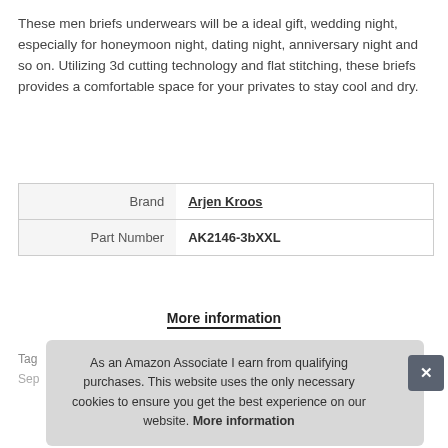These men briefs underwears will be a ideal gift, wedding night, especially for honeymoon night, dating night, anniversary night and so on. Utilizing 3d cutting technology and flat stitching, these briefs provides a comfortable space for your privates to stay cool and dry.
| Brand | Arjen Kroos |
| Part Number | AK2146-3bXXL |
More information
Tags
Sep
As an Amazon Associate I earn from qualifying purchases. This website uses the only necessary cookies to ensure you get the best experience on our website. More information